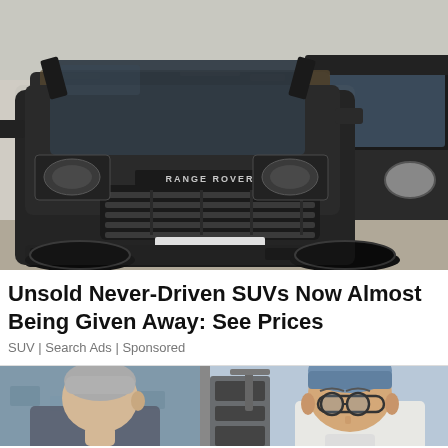[Figure (photo): Photo of a dusty black Range Rover SUV parked alongside another dark SUV, viewed from the front at an angle. The Range Rover badge is visible on the hood. The vehicles appear dirty/unused.]
Unsold Never-Driven SUVs Now Almost Being Given Away: See Prices
SUV | Search Ads | Sponsored
[Figure (photo): Partial photo showing two people: on the left, an older man with grey hair seen from behind/side, and on the right, a man wearing glasses and a blue surgical cap standing near medical equipment.]